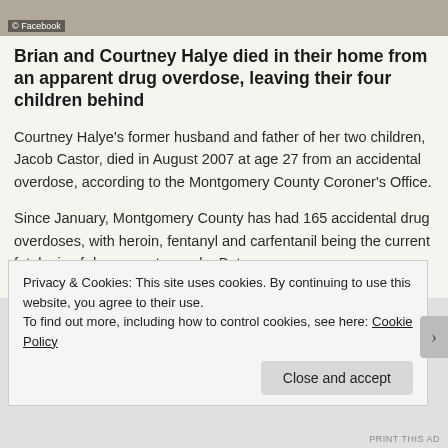[Figure (photo): Partial view of photo with Facebook watermark showing people, background cropped at top of page]
Brian and Courtney Halye died in their home from an apparent drug overdose, leaving their four children behind
Courtney Halye’s former husband and father of her two children, Jacob Castor, died in August 2007 at age 27 from an accidental overdose, according to the Montgomery County Coroner’s Office.
Since January, Montgomery County has had 165 accidental drug overdoses, with heroin, fentanyl and carfentanil being the current fatal mix of drugs most seen by Betz.
Privacy & Cookies: This site uses cookies. By continuing to use this website, you agree to their use.
To find out more, including how to control cookies, see here: Cookie Policy
Close and accept